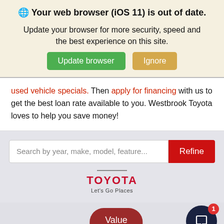🌐 Your web browser (iOS 11) is out of date.
Update your browser for more security, speed and the best experience on this site.
used vehicle specials. Then apply for financing with us to get the best loan rate available to you. Westbrook Toyota loves to help you save money!
[Figure (screenshot): Search bar with placeholder text 'Search by year, make, model, feature...' and a red Refine button]
[Figure (logo): Toyota logo with 'Let's Go Places' tagline]
Inventory
[Figure (other): Dark navy chat bubble icon with red badge showing number 1]
[Figure (other): Red rounded button labeled 'Value Your Trade']